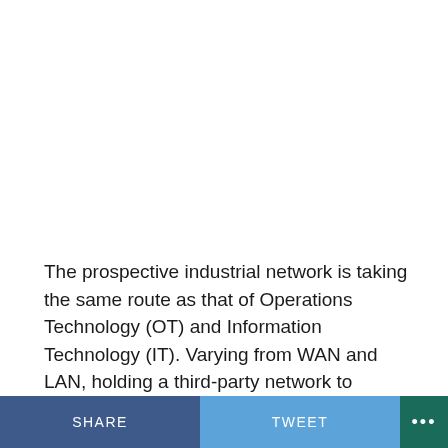The prospective industrial network is taking the same route as that of Operations Technology (OT) and Information Technology (IT). Varying from WAN and LAN, holding a third-party network to outsource cloud-based SaaS solutions via public clouds.
SHARE   TWEET   ···